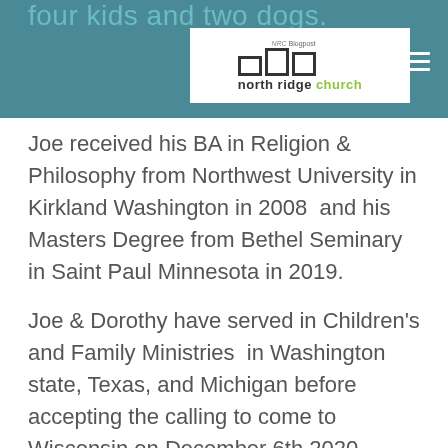four kids and two dogs.
[Figure (logo): North Ridge Church logo — three square outlines of varying heights arranged side by side, with 'north ridge church' text below, 'church' in green]
Joe received his BA in Religion & Philosophy from Northwest University in Kirkland Washington in 2008  and his Masters Degree from Bethel Seminary in Saint Paul Minnesota in 2019.
Joe & Dorothy have served in Children's and Family Ministries  in Washington state, Texas, and Michigan before accepting the calling to come to Wisconsin on December 6th 2020.